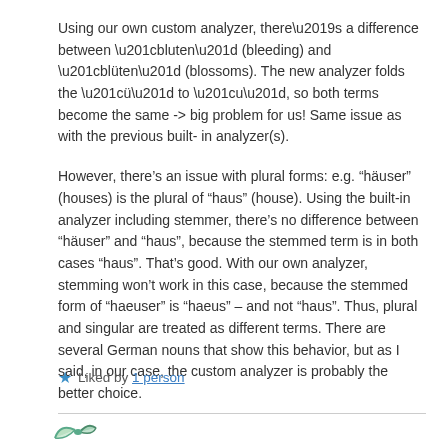Using our own custom analyzer, there’s a difference between “bluten” (bleeding) and “blüten” (blossoms). The new analyzer folds the “ü” to “u”, so both terms become the same -> big problem for us! Same issue as with the previous built-in analyzer(s).
However, there’s an issue with plural forms: e.g. “häuser” (houses) is the plural of “haus” (house). Using the built-in analyzer including stemmer, there’s no difference between “häuser” and “haus”, because the stemmed term is in both cases “haus”. That’s good. With our own analyzer, stemming won’t work in this case, because the stemmed form of “haeuser” is “haeus” – and not “haus”. Thus, plural and singular are treated as different terms. There are several German nouns that show this behavior, but as I said, in our case, the custom analyzer is probably the better choice.
★ Liked by 1 person